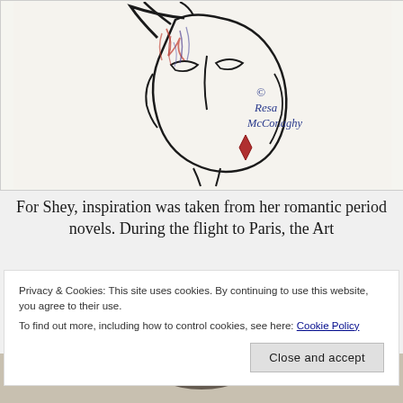[Figure (illustration): A fashion sketch of a woman's face with colorful crayon-like marks in red, blue, and black. A signature in blue italic script reads '© Resa McConaghy'. The figure wears a red angular earring.]
For Shey, inspiration was taken from her romantic period novels. During the flight to Paris, the Art
Privacy & Cookies: This site uses cookies. By continuing to use this website, you agree to their use.
To find out more, including how to control cookies, see here: Cookie Policy
[Figure (photo): Bottom portion of a photograph partially visible, showing a dark textured subject.]